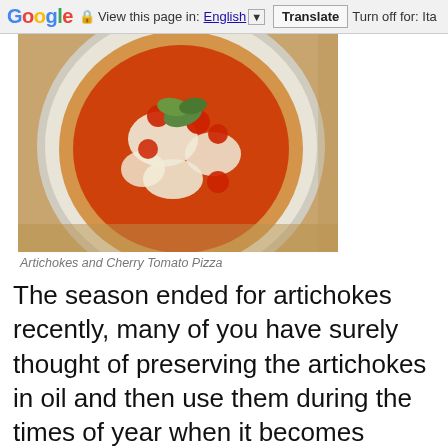Google  View this page in: English [▼]  Translate  Turn off for: Ita
[Figure (photo): Top-down photo of an artichokes and cherry tomato pizza on a white plate, with visible cherry tomatoes, melted cheese, and green basil leaves.]
Artichokes and Cherry Tomato Pizza
The season ended for artichokes recently, many of you have surely thought of preserving the artichokes in oil and then use them during the times of year when it becomes difficult to obtain. This is the right time to pull out one of your artichokes prepared jars months ago. For those less fortunate who do not have in their pantry personal escort, remember that you can find them on the shelves of supermarkets all year. Do not buy artichokes broken up into leaves, but if you can buy the whole artichokes that include